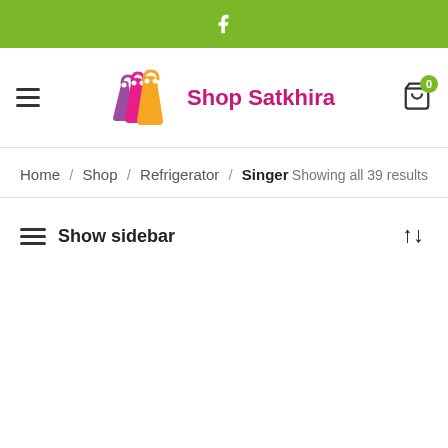Facebook bar (green)
[Figure (logo): Shop Satkhira logo with two shopping bags (pink and orange) and the text 'Shop Satkhira' in pink/magenta]
Home / Shop / Refrigerator / Singer    Showing all 39 results
≡ Show sidebar    ↑↓